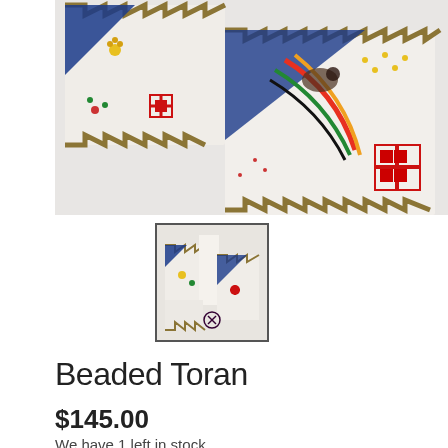[Figure (photo): Close-up photograph of a beaded toran (decorative door hanging) with colorful beadwork patterns including cross motifs, floral designs, and geometric zigzag borders in white, blue, red, green, and gold colors.]
[Figure (photo): Thumbnail image of the beaded toran showing the full piece with its decorative beaded panels and fringe.]
Beaded Toran
$145.00
We have 1 left in stock.